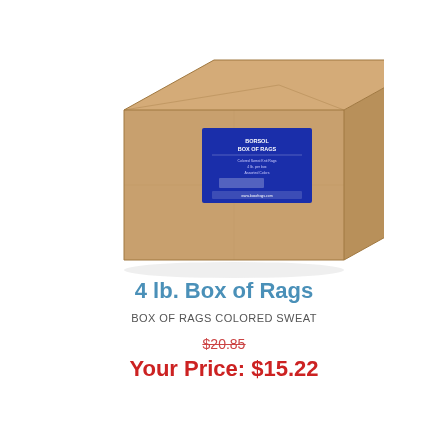[Figure (photo): Cardboard box with a blue product label on the front face, angled slightly, on a white background]
4 lb. Box of Rags
BOX OF RAGS COLORED SWEAT
$20.85
Your Price: $15.22